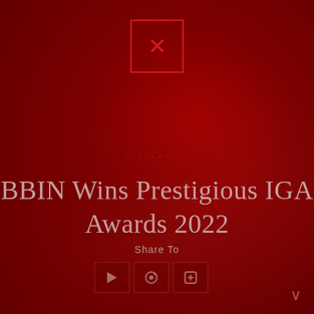[Figure (other): Close/dismiss button: a red-bordered square with an X mark centered at the top of the page on a dark red background]
BBIN Wins Prestigious IGA Awards 2022
Share To
[Figure (other): Row of three social media share buttons (icons) below 'Share To' text, rendered as dark red square buttons with icon symbols inside]
v